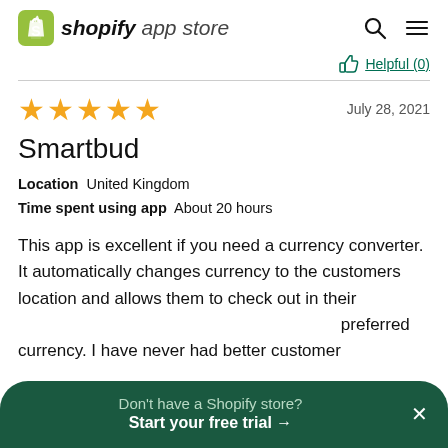shopify app store
Helpful (0)
Smartbud
Location  United Kingdom
Time spent using app  About 20 hours
July 28, 2021
This app is excellent if you need a currency converter. It automatically changes currency to the customers location and allows them to check out in their preferred currency. I have never had better customer
Don't have a Shopify store? Start your free trial →